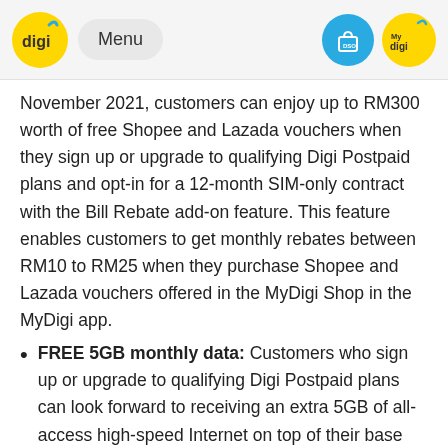digi | Menu | DSO | My digi
November 2021, customers can enjoy up to RM300 worth of free Shopee and Lazada vouchers when they sign up or upgrade to qualifying Digi Postpaid plans and opt-in for a 12-month SIM-only contract with the Bill Rebate add-on feature. This feature enables customers to get monthly rebates between RM10 to RM25 when they purchase Shopee and Lazada vouchers offered in the MyDigi Shop in the MyDigi app.
FREE 5GB monthly data: Customers who sign up or upgrade to qualifying Digi Postpaid plans can look forward to receiving an extra 5GB of all-access high-speed Internet on top of their base monthly Internet quota, giving them more enjoyment to surf and stream. Moreover, Digi Postpaid 150 customers who opt-in for a 12-month SIM-only contract can choose